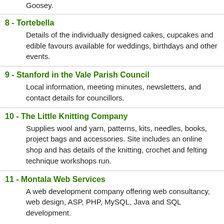Goosey.
8 - Tortebella
Details of the individually designed cakes, cupcakes and edible favours available for weddings, birthdays and other events.
9 - Stanford in the Vale Parish Council
Local information, meeting minutes, newsletters, and contact details for councillors.
10 - The Little Knitting Company
Supplies wool and yarn, patterns, kits, needles, books, project bags and accessories. Site includes an online shop and has details of the knitting, crochet and felting technique workshops run.
11 - Montala Web Services
A web development company offering web consultancy, web design, ASP, PHP, MySQL, Java and SQL development.